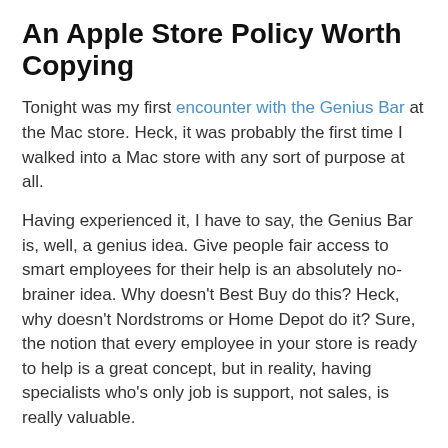An Apple Store Policy Worth Copying
Tonight was my first encounter with the Genius Bar at the Mac store. Heck, it was probably the first time I walked into a Mac store with any sort of purpose at all.
Having experienced it, I have to say, the Genius Bar is, well, a genius idea. Give people fair access to smart employees for their help is an absolutely no-brainer idea. Why doesn't Best Buy do this? Heck, why doesn't Nordstroms or Home Depot do it? Sure, the notion that every employee in your store is ready to help is a great concept, but in reality, having specialists who's only job is support, not sales, is really valuable.
But this post isn't about the Genius Bar. I've only been their once, for all I know, it's a terrible idea.
This post is about another practice I ran into tonight. Here's how it played out:
1. I walk into the Apple store, dazed and confused looking for the Genius Bar.